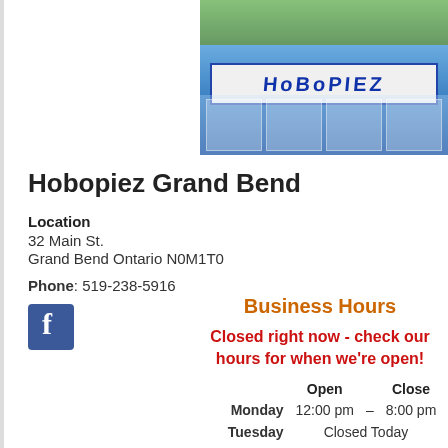[Figure (photo): Exterior photo of Hobopiez store in Grand Bend with blue awning and signage, trees in background]
Hobopiez Grand Bend
Location
32 Main St.
Grand Bend Ontario N0M1T0
Phone: 519-238-5916
[Figure (logo): Facebook icon logo]
Business Hours
Closed right now - check our hours for when we're open!
|  | Open | Close |
| --- | --- | --- |
| Monday | 12:00 pm | – | 8:00 pm |
| Tuesday | Closed Today |  |  |
| Wednesday | 12:00 pm | – | 8:00 pm |
| Thursday | 12:00 pm | – | 8:00 pm |